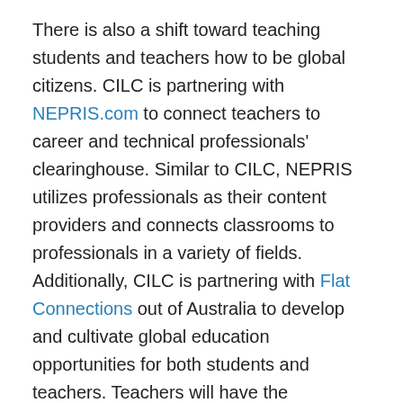There is also a shift toward teaching students and teachers how to be global citizens. CILC is partnering with NEPRIS.com to connect teachers to career and technical professionals' clearinghouse. Similar to CILC, NEPRIS utilizes professionals as their content providers and connects classrooms to professionals in a variety of fields. Additionally, CILC is partnering with Flat Connections out of Australia to develop and cultivate global education opportunities for both students and teachers. Teachers will have the opportunity to become certified in global education by learning how to create meaningful educational experiences through connecting their students to other global classrooms.
The future of education rests on the ability for students to connect with the limitless education opportunities throughout the world and programs like one-click connect...